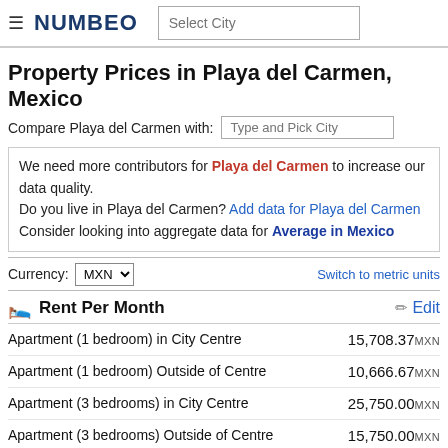≡ NUMBEO | Select City
Property Prices in Playa del Carmen, Mexico
Compare Playa del Carmen with: Type and Pick City
We need more contributors for Playa del Carmen to increase our data quality. Do you live in Playa del Carmen? Add data for Playa del Carmen. Consider looking into aggregate data for Average in Mexico
Currency: MXN   Switch to metric units
🛏 Rent Per Month   ✏ Edit
|  |  |
| --- | --- |
| Apartment (1 bedroom) in City Centre | 15,708.37 MXN |
| Apartment (1 bedroom) Outside of Centre | 10,666.67 MXN |
| Apartment (3 bedrooms) in City Centre | 25,750.00 MXN |
| Apartment (3 bedrooms) Outside of Centre | 15,750.00 MXN |